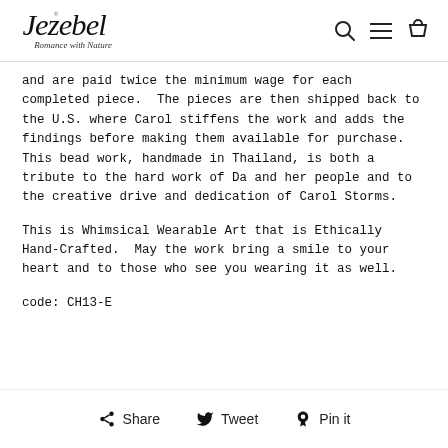Jezebel Romance with Nature — navigation header
and are paid twice the minimum wage for each completed piece. The pieces are then shipped back to the U.S. where Carol stiffens the work and adds the findings before making them available for purchase. This bead work, handmade in Thailand, is both a tribute to the hard work of Da and her people and to the creative drive and dedication of Carol Storms.
This is Whimsical Wearable Art that is Ethically Hand-Crafted. May the work bring a smile to your heart and to those who see you wearing it as well.
code: CH13-E
Share  Tweet  Pin it